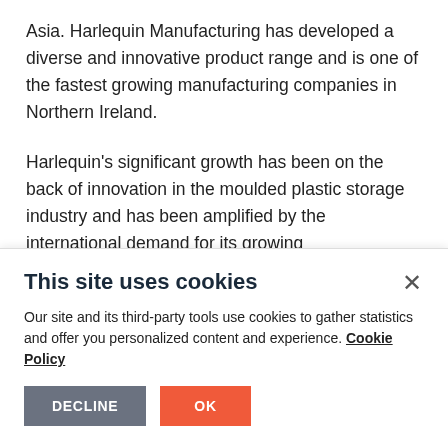Asia. Harlequin Manufacturing has developed a diverse and innovative product range and is one of the fastest growing manufacturing companies in Northern Ireland.
Harlequin's significant growth has been on the back of innovation in the moulded plastic storage industry and has been amplified by the international demand for its growing
This site uses cookies
Our site and its third-party tools use cookies to gather statistics and offer you personalized content and experience. Cookie Policy
DECLINE  OK